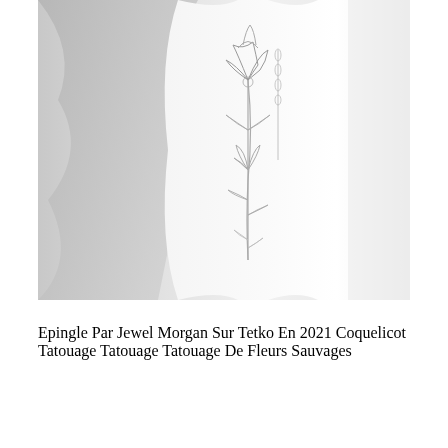[Figure (photo): A light grayscale photo of a person's arm or leg with a delicate floral tattoo featuring poppy/wildflower outlines drawn in fine lines on pale skin, with soft fabric visible in the background.]
Epingle Par Jewel Morgan Sur Tetko En 2021 Coquelicot Tatouage Tatouage Tatouage De Fleurs Sauvages